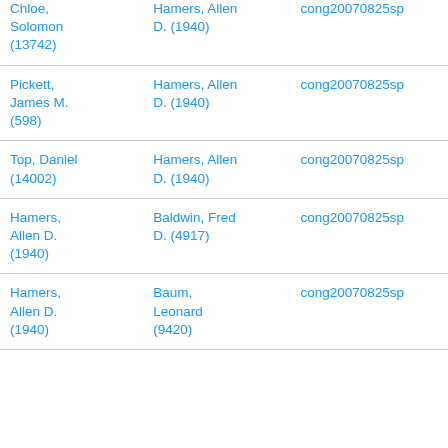| Chloe, Solomon (13742) | Hamers, Allen D. (1940) | cong20070825sp |
| Pickett, James M. (598) | Hamers, Allen D. (1940) | cong20070825sp |
| Top, Daniel (14002) | Hamers, Allen D. (1940) | cong20070825sp |
| Hamers, Allen D. (1940) | Baldwin, Fred D. (4917) | cong20070825sp |
| Hamers, Allen D. (1940) | Baum, Leonard (9420) | cong20070825sp |